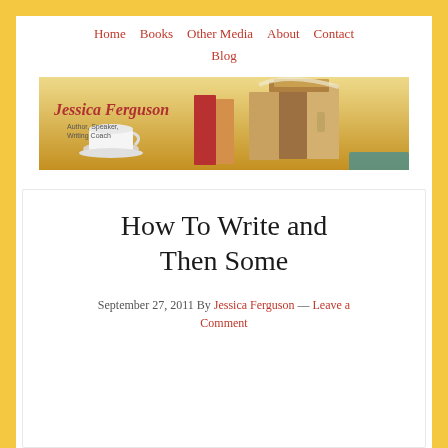Home | Books | Other Media | About | Contact | Blog
[Figure (illustration): Jessica Ferguson website header banner showing stacked old books and a white tea cup on a yellow background, with cursive text 'Jessica Ferguson, Author, Speaker, Writing Coach']
How To Write and Then Some
September 27, 2011 By Jessica Ferguson — Leave a Comment